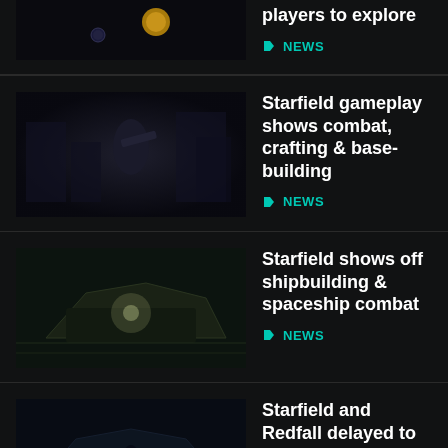[Figure (screenshot): Partial article thumbnail showing space scene]
players to explore
NEWS
[Figure (screenshot): Starfield gameplay screenshot showing combat scene]
Starfield gameplay shows combat, crafting & base-building
NEWS
[Figure (screenshot): Starfield screenshot showing shipbuilding]
Starfield shows off shipbuilding & spaceship combat
NEWS
[Figure (screenshot): Starfield and Redfall screenshot]
Starfield and Redfall delayed to early 2023
NEWS
[Figure (screenshot): Partial article thumbnail for join group article]
Starfield will let you join a group of